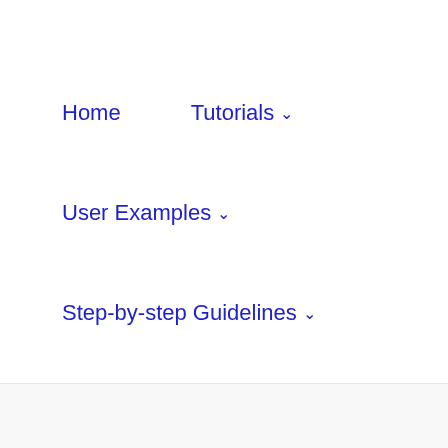Home    Tutorials ∨
User Examples ∨
Step-by-step Guidelines ∨
guidelines ∨    Mcleans Ridges ∨
Contacts